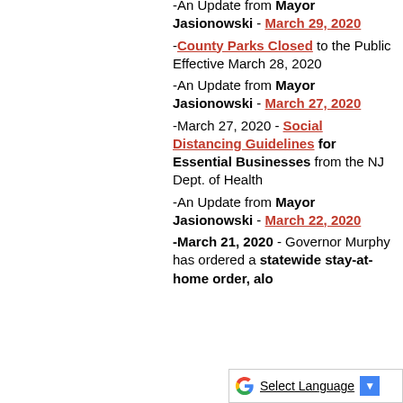-An Update from Mayor Jasionowski - March 29, 2020
-County Parks Closed to the Public Effective March 28, 2020
-An Update from Mayor Jasionowski - March 27, 2020
-March 27, 2020 - Social Distancing Guidelines for Essential Businesses from the NJ Dept. of Health
-An Update from Mayor Jasionowski - March 22, 2020
-March 21, 2020 - Governor Murphy has ordered a statewide stay-at-home order, alo